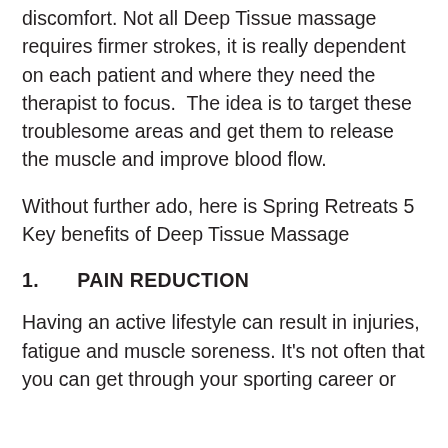discomfort. Not all Deep Tissue massage requires firmer strokes, it is really dependent on each patient and where they need the therapist to focus.  The idea is to target these troublesome areas and get them to release the muscle and improve blood flow.
Without further ado, here is Spring Retreats 5 Key benefits of Deep Tissue Massage
1.    PAIN REDUCTION
Having an active lifestyle can result in injuries, fatigue and muscle soreness. It's not often that you can get through your sporting career or